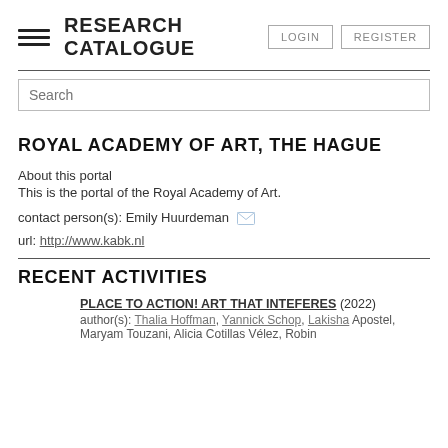RESEARCH CATALOGUE  LOGIN  REGISTER
Search
ROYAL ACADEMY OF ART, THE HAGUE
About this portal
This is the portal of the Royal Academy of Art.
contact person(s): Emily Huurdeman
url: http://www.kabk.nl
RECENT ACTIVITIES
PLACE TO ACTION! ART THAT INTEFERES (2022)
author(s): Thalia Hoffman, Yannick Schop, Lakisha Apostel, Maryam Touzani, Alicia Cotillas Vélez, Robin